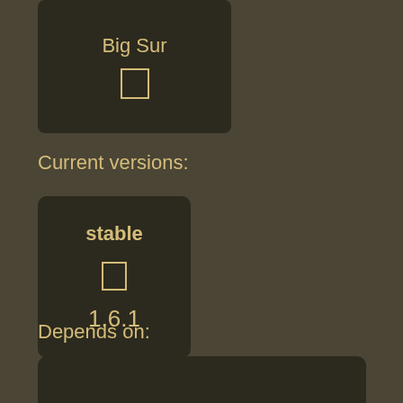[Figure (screenshot): Dark card showing 'Big Sur' text with a small icon box below it]
Current versions:
[Figure (screenshot): Dark card showing 'stable' label, icon box, and version 1.6.1]
Depends on:
[Figure (screenshot): Dark card showing glib dependency with version 2.72.3 and description 'Core application library for C']